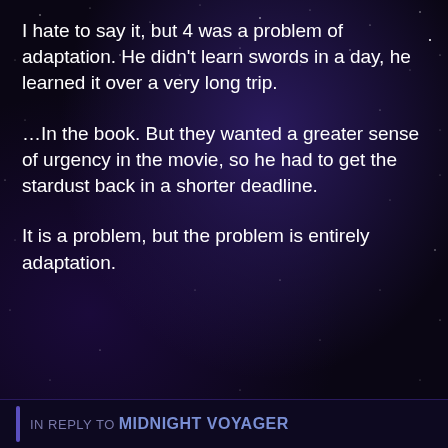I hate to say it, but 4 was a problem of adaptation. He didn't learn swords in a day, he learned it over a very long trip.
…In the book. But they wanted a greater sense of urgency in the movie, so he had to get the stardust back in a shorter deadline.
It is a problem, but the problem is entirely adaptation.
Reply
IN REPLY TO MIDNIGHT VOYAGER